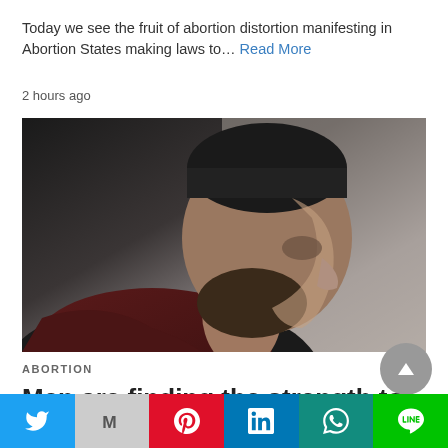Today we see the fruit of abortion distortion manifesting in Abortion States making laws to… Read More
2 hours ago
[Figure (photo): Close-up profile photo of a bearded man wearing a dark knit beanie and a dark red/maroon scarf, looking downward against a muted grey background.]
ABORTION
Men are finding the strength to speak out
[Figure (infographic): Social media share bar with icons for Twitter (blue), Gmail/M (grey), Pinterest (red), LinkedIn (blue), WhatsApp (teal), and LINE (green).]